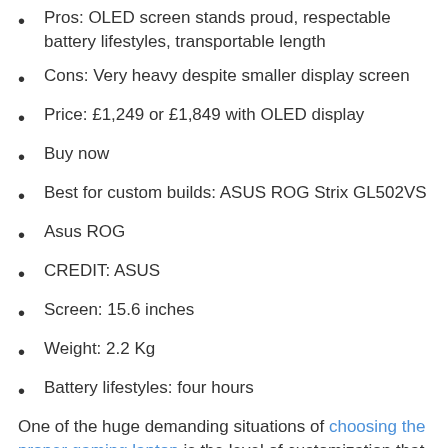Pros: OLED screen stands proud, respectable battery lifestyles, transportable length
Cons: Very heavy despite smaller display screen
Price: £1,249 or £1,849 with OLED display
Buy now
Best for custom builds: ASUS ROG Strix GL502VS
Asus ROG
CREDIT: ASUS
Screen: 15.6 inches
Weight: 2.2 Kg
Battery lifestyles: four hours
One of the huge demanding situations of choosing the proper gaming laptop is the level of customization that can be